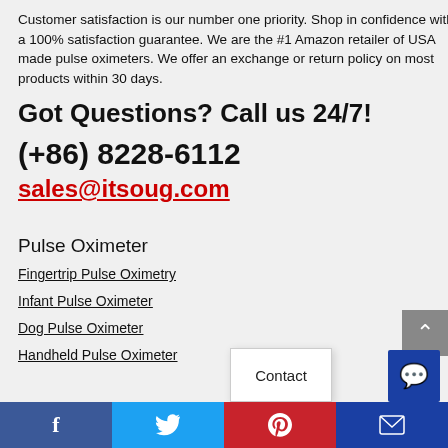Customer satisfaction is our number one priority. Shop in confidence with a 100% satisfaction guarantee. We are the #1 Amazon retailer of USA made pulse oximeters. We offer an exchange or return policy on most products within 30 days.
Got Questions? Call us 24/7!
(+86) 8228-6112
sales@itsoug.com
Pulse Oximeter
Fingertrip Pulse Oximetry
Infant Pulse Oximeter
Dog Pulse Oximeter
Handheld Pulse Oximeter